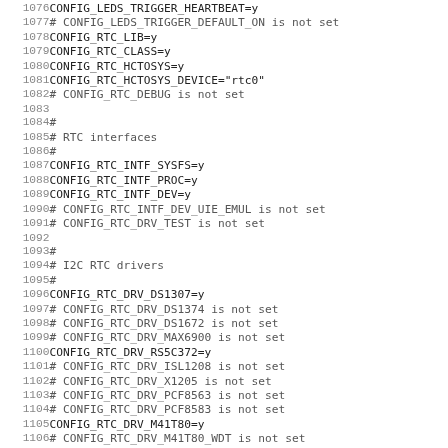Linux kernel configuration file excerpt, lines 1076-1107, showing CONFIG_LEDS, CONFIG_RTC, and I2C RTC driver settings